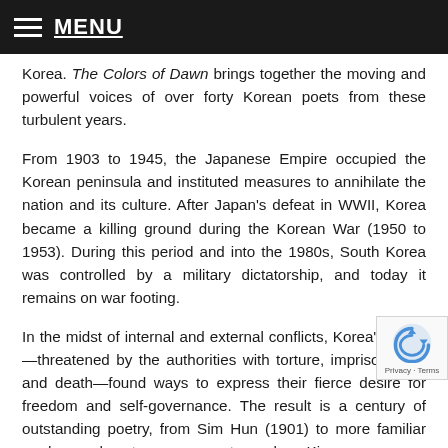MENU
Korea. The Colors of Dawn brings together the moving and powerful voices of over forty Korean poets from these turbulent years.
From 1903 to 1945, the Japanese Empire occupied the Korean peninsula and instituted measures to annihilate the nation and its culture. After Japan's defeat in WWII, Korea became a killing ground during the Korean War (1950 to 1953). During this period and into the 1980s, South Korea was controlled by a military dictatorship, and today it remains on war footing.
In the midst of internal and external conflicts, Korea's poets—threatened by the authorities with torture, imprisonment, and death—found ways to express their fierce desire for freedom and self-governance. The result is a century of outstanding poetry, from Sim Hun (1901) to more familiar modern and contemporary poets, such as Kim...